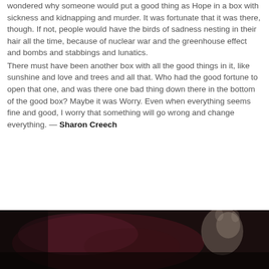wondered why someone would put a good thing as Hope in a box with sickness and kidnapping and murder. It was fortunate that it was there, though. If not, people would have the birds of sadness nesting in their hair all the time, because of nuclear war and the greenhouse effect and bombs and stabbings and lunatics. There must have been another box with all the good things in it, like sunshine and love and trees and all that. Who had the good fortune to open that one, and was there one bad thing down there in the bottom of the good box? Maybe it was Worry. Even when everything seems fine and good, I worry that something will go wrong and change everything. — Sharon Creech
[Figure (photo): Dark blurred photo showing what appears to be flowers or plants in low light, with a light-colored animal (possibly a white cat or small creature) visible on the right side]